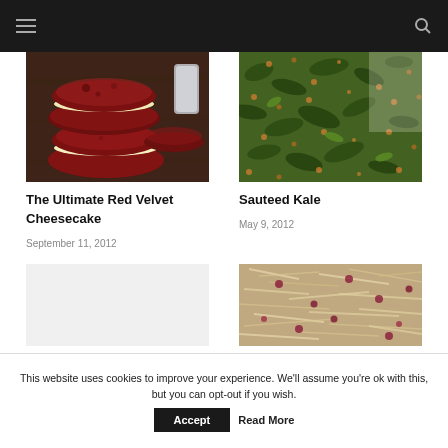Navigation bar with hamburger menu and search icon
[Figure (photo): Red velvet whoopie pie sandwich cookies with cream filling, stacked, with a glass of milk in background]
The Ultimate Red Velvet Cheesecake
September 11, 2012
[Figure (photo): Sauteed kale dish with grains, green leafy vegetables and orange/brown toppings]
Sauteed Kale
May 9, 2012
[Figure (photo): Blank/placeholder image, light gray]
[Figure (photo): Food dish with shredded ingredients, appears to be a casserole or mixed dish with red accents]
This website uses cookies to improve your experience. We'll assume you're ok with this, but you can opt-out if you wish.
Accept
Read More